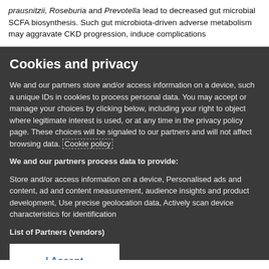prausnitzii, Roseburia and Prevotella lead to decreased gut microbial SCFA biosynthesis. Such gut microbiota-driven adverse metabolism may aggravate CKD progression, induce complications
Cookies and privacy
We and our partners store and/or access information on a device, such a unique IDs in cookies to process personal data. You may accept or manage your choices by clicking below, including your right to object where legitimate interest is used, or at any time in the privacy policy page. These choices will be signaled to our partners and will not affect browsing data. Cookie policy
We and our partners process data to provide:
Store and/or access information on a device, Personalised ads and content, ad and content measurement, audience insights and product development, Use precise geolocation data, Actively scan device characteristics for identification
List of Partners (vendors)
I Accept